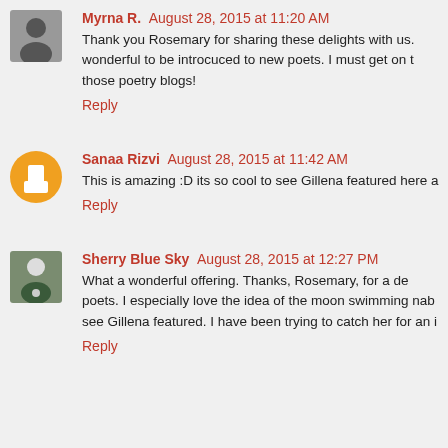Myrna R. August 28, 2015 at 11:20 AM
Thank you Rosemary for sharing these delights with us. wonderful to be introcuced to new poets. I must get on those poetry blogs!
Reply
Sanaa Rizvi August 28, 2015 at 11:42 AM
This is amazing :D its so cool to see Gillena featured here a
Reply
Sherry Blue Sky August 28, 2015 at 12:27 PM
What a wonderful offering. Thanks, Rosemary, for a de poets. I especially love the idea of the moon swimming nah see Gillena featured. I have been trying to catch her for an i
Reply